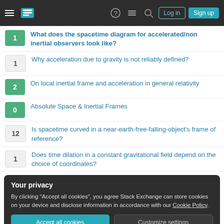Stack Exchange navigation header with login and sign up buttons
1 What does the spacetime diagram for accelerated/non inertial observers look like?
1 Why acceleration due to gravity is not reliably defined?
2 On local inertial frame and acceleration in general relativity
0 Absolute Space & Inertial Frames
12 Is spacetime curved in a near-earth-free-falling-object's frame of reference?
1 Does time dilation in a constant gravitational field depend on the choice of coordinates?
Your privacy
By clicking "Accept all cookies", you agree Stack Exchange can store cookies on your device and disclose information in accordance with our Cookie Policy.
Accept all cookies   Customize settings
How to get specific fields of JSON objects for which another field is